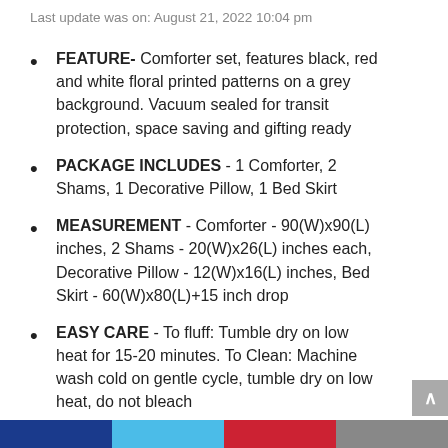Last update was on: August 21, 2022 10:04 pm
FEATURE- Comforter set, features black, red and white floral printed patterns on a grey background. Vacuum sealed for transit protection, space saving and gifting ready
PACKAGE INCLUDES - 1 Comforter, 2 Shams, 1 Decorative Pillow, 1 Bed Skirt
MEASUREMENT - Comforter - 90(W)x90(L) inches, 2 Shams - 20(W)x26(L) inches each, Decorative Pillow - 12(W)x16(L) inches, Bed Skirt - 60(W)x80(L)+15 inch drop
EASY CARE - To fluff: Tumble dry on low heat for 15-20 minutes. To Clean: Machine wash cold on gentle cycle, tumble dry on low heat, do not bleach